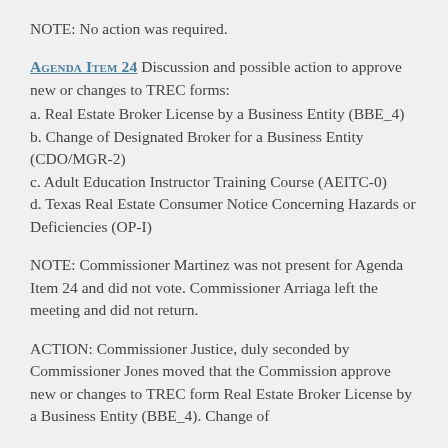NOTE: No action was required.
Agenda Item 24 Discussion and possible action to approve new or changes to TREC forms:
a. Real Estate Broker License by a Business Entity (BBE_4)
b. Change of Designated Broker for a Business Entity (CDO/MGR-2)
c. Adult Education Instructor Training Course (AEITC-0)
d. Texas Real Estate Consumer Notice Concerning Hazards or Deficiencies (OP-I)
NOTE: Commissioner Martinez was not present for Agenda Item 24 and did not vote. Commissioner Arriaga left the meeting and did not return.
ACTION: Commissioner Justice, duly seconded by Commissioner Jones moved that the Commission approve new or changes to TREC form Real Estate Broker License by a Business Entity (BBE_4). Change of